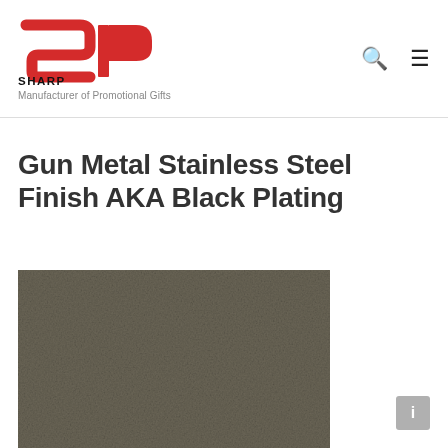[Figure (logo): Sharp Performance logo — red SP monogram with bold black text SHARP PERFORMANCE below, tagline Manufacturer of Promotional Gifts]
Gun Metal Stainless Steel Finish AKA Black Plating
[Figure (photo): Close-up photo of a gun metal / dark grey stainless steel surface finish showing black plating texture]